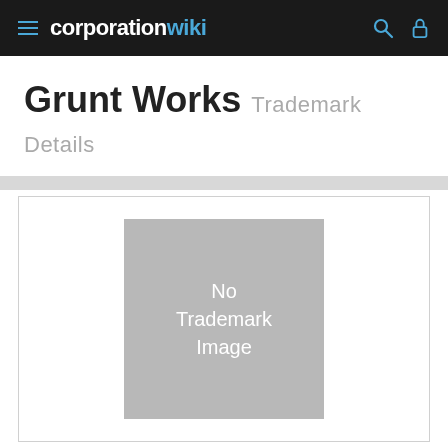corporationwiki
Grunt Works Trademark Details
[Figure (other): No Trademark Image placeholder box]